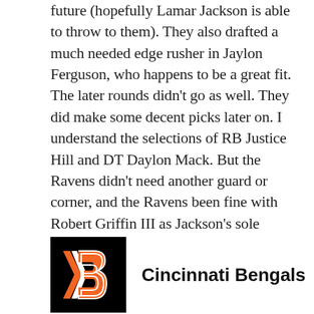future (hopefully Lamar Jackson is able to throw to them). They also drafted a much needed edge rusher in Jaylon Ferguson, who happens to be a great fit. The later rounds didn't go as well. They did make some decent picks later on. I understand the selections of RB Justice Hill and DT Daylon Mack. But the Ravens didn't need another guard or corner, and the Ravens been fine with Robert Griffin III as Jackson's sole backup. Overall, this is a pretty good draft class, but it was a bit top heavy, and they didn't prioritize their biggest needs in the later rounds.
[Figure (logo): Cincinnati Bengals helmet logo on black background with orange and white stripe design]
Cincinnati Bengals